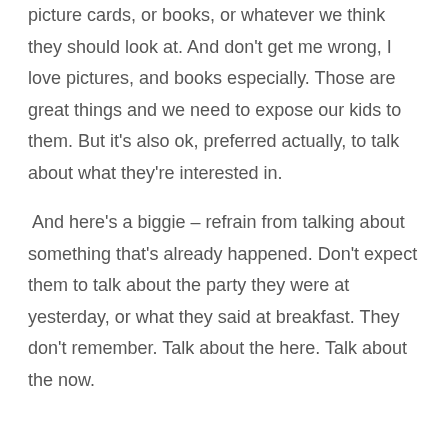picture cards, or books, or whatever we think they should look at. And don't get me wrong, I love pictures, and books especially. Those are great things and we need to expose our kids to them. But it's also ok, preferred actually, to talk about what they're interested in.

 And here's a biggie – refrain from talking about something that's already happened. Don't expect them to talk about the party they were at yesterday, or what they said at breakfast. They don't remember. Talk about the here. Talk about the now.